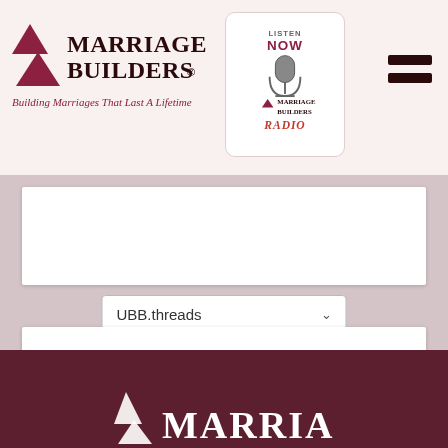[Figure (logo): Marriage Builders logo with two red triangles and bold serif text, tagline 'Building Marriages That Last A Lifetime']
[Figure (logo): Listen Now Marriage Builders Radio badge with microphone icon]
[Figure (other): Hamburger menu icon (two dark horizontal bars)]
[Figure (screenshot): White content box placeholder in gray background]
UBB.threads
[Figure (screenshot): White content box placeholder in gray background]
[Figure (logo): Marriage Builders footer logo in white text on dark maroon background showing 'MARRIAGE']